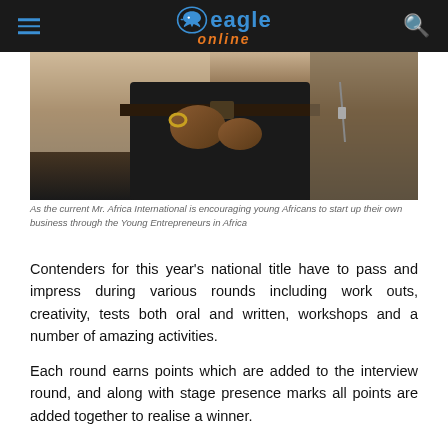Eagle Online
[Figure (photo): Close-up photo of a man's torso showing hands clasped in front wearing black leather pants and a jacket]
As the current Mr. Africa International is encouraging young Africans to start up their own business through the Young Entrepreneurs in Africa
Contenders for this year's national title have to pass and impress during various rounds including work outs, creativity, tests both oral and written, workshops and a number of amazing activities.
Each round earns points which are added to the interview round, and along with stage presence marks all points are added together to realise a winner.